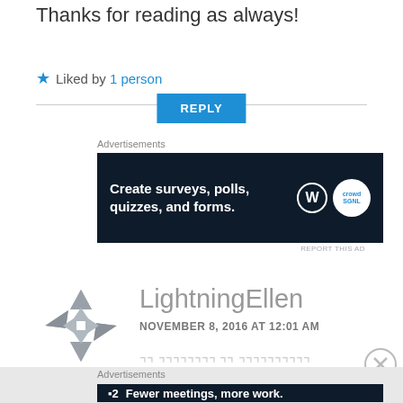Thanks for reading as always!
★ Liked by 1 person
REPLY
Advertisements
[Figure (screenshot): Dark blue ad banner: 'Create surveys, polls, quizzes, and forms.' with WordPress and CrowdSignal logos]
REPORT THIS AD
[Figure (logo): LightningEllen avatar — grey geometric snowflake/star logo]
LightningEllen
NOVEMBER 8, 2016 AT 12:01 AM
… (comment preview text, partially cut off)
Advertisements
[Figure (screenshot): Dark blue ad banner: Frontrow 2 logo 'Fewer meetings, more work.']
REPORT THIS AD